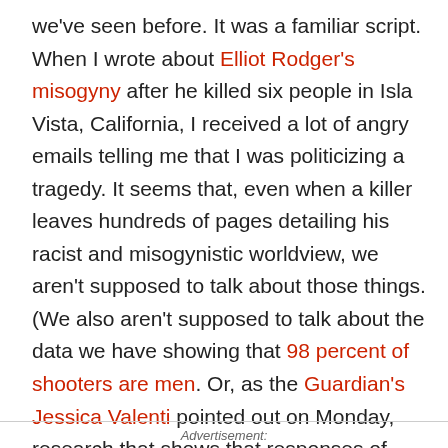we've seen before. It was a familiar script. When I wrote about Elliot Rodger's misogyny after he killed six people in Isla Vista, California, I received a lot of angry emails telling me that I was politicizing a tragedy. It seems that, even when a killer leaves hundreds of pages detailing his racist and misogynistic worldview, we aren't supposed to talk about those things. (We also aren't supposed to talk about the data we have showing that 98 percent of shooters are men. Or, as the Guardian's Jessica Valenti pointed out on Monday, research that shows that responses of "explosive anger" are "two to three times more likely to occur in male teens, and twice as likely in adult men.")
Advertisement: